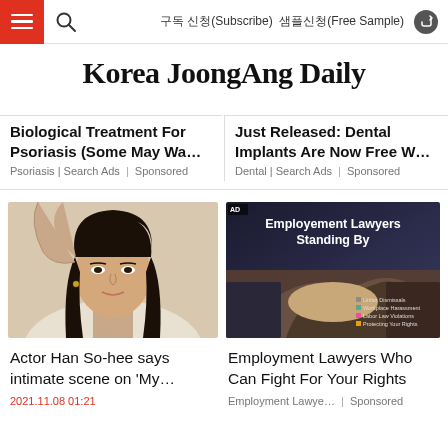Korea JoongAng Daily — navigation bar with hamburger menu, search, 구독 신청(Subscribe), 샘플신청(Free Sample), share
Korea JoongAng Daily
Biological Treatment For Psoriasis (Some May Wa...
Psoriasis | Search Ads  |  Sponsored
Just Released: Dental Implants Are Now Free W...
Dental | Search Ads  |  Sponsored
[Figure (photo): Portrait photo of actor Han So-hee with long dark hair against a light background]
Actor Han So-hee says intimate scene on 'My…'
2021.11.08 01:21
[Figure (photo): Employment Lawyers advertisement image showing handshake with text overlay: Employement Lawyers Standing By, with checklist: Unfair Dismissals, Workplace Harassment, Labor Law Violations, Protecting Your Rights]
Employment Lawyers Who Can Fight For Your Rights
Employment Lawye…  |  Sponsored